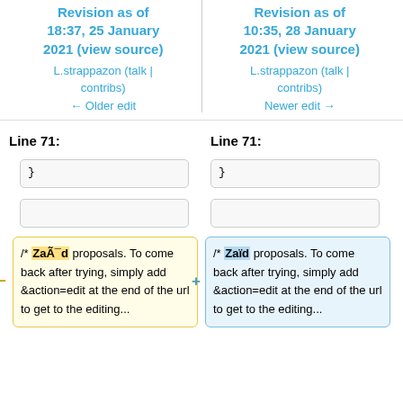Revision as of 18:37, 25 January 2021 (view source) L.strappazon (talk | contribs) ← Older edit
Revision as of 10:35, 28 January 2021 (view source) L.strappazon (talk | contribs) Newer edit →
Line 71:
Line 71:
}
}
/* ZaÃ¯d proposals. To come back after trying, simply add &action=edit at the end of the url to get to the editing...
/* Zaïd proposals. To come back after trying, simply add &action=edit at the end of the url to get to the editing...